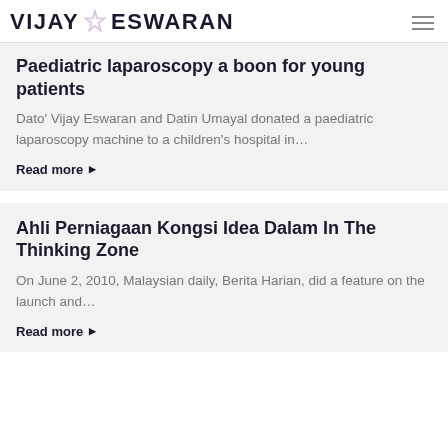VIJAY ESWARAN
Paediatric laparoscopy a boon for young patients
Dato' Vijay Eswaran and Datin Umayal donated a paediatric laparoscopy machine to a children's hospital in…
Read more
Ahli Perniagaan Kongsi Idea Dalam In The Thinking Zone
On June 2, 2010, Malaysian daily, Berita Harian, did a feature on the launch and…
Read more